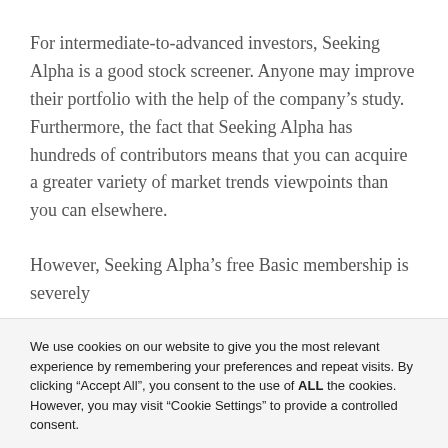For intermediate-to-advanced investors, Seeking Alpha is a good stock screener. Anyone may improve their portfolio with the help of the company's study. Furthermore, the fact that Seeking Alpha has hundreds of contributors means that you can acquire a greater variety of market trends viewpoints than you can elsewhere.
However, Seeking Alpha's free Basic membership is severely
We use cookies on our website to give you the most relevant experience by remembering your preferences and repeat visits. By clicking "Accept All", you consent to the use of ALL the cookies. However, you may visit "Cookie Settings" to provide a controlled consent.